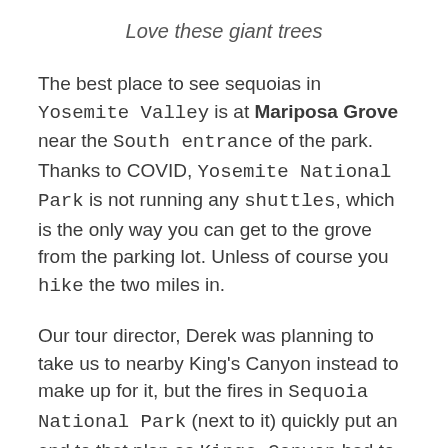Love these giant trees
The best place to see sequoias in Yosemite Valley is at Mariposa Grove near the South entrance of the park. Thanks to COVID, Yosemite National Park is not running any shuttles, which is the only way you can get to the grove from the parking lot. Unless of course you hike the two miles in.
Our tour director, Derek was planning to take us to nearby King's Canyon instead to make up for it, but the fires in Sequoia National Park (next to it) quickly put an end to that plan as Kings Canyon had to close.